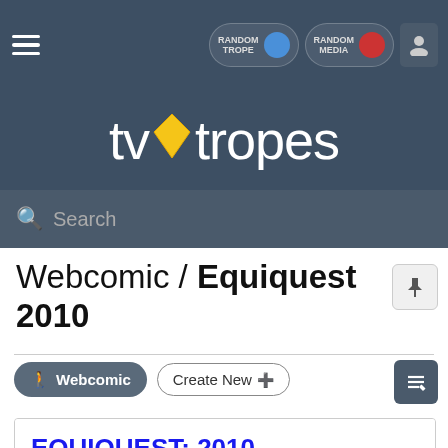TV Tropes - Webcomic / Equiquest 2010
Webcomic / Equiquest 2010
Webcomic   Create New
[Figure (illustration): Equiquest: 2010 webcomic banner image with colorful cartoon characters]